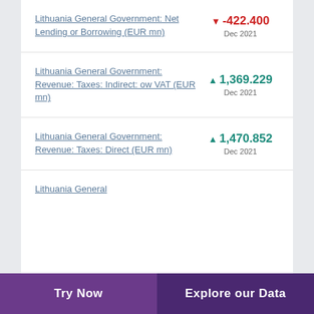Lithuania General Government: Net Lending or Borrowing (EUR mn)
Lithuania General Government: Revenue: Taxes: Indirect: ow VAT (EUR mn)
Lithuania General Government: Revenue: Taxes: Direct (EUR mn)
Lithuania General
Try Now | Explore our Data